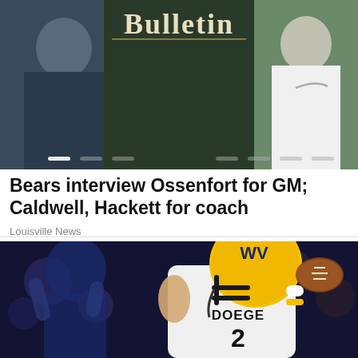[Figure (photo): Sports news website header banner showing partial text 'Bulletin' in gothic font, with images of coaches/players in dark and green uniforms. Carousel navigation dots visible at bottom.]
Bears interview Ossenfort for GM; Caldwell, Hackett for coach
Louisville News
[Figure (photo): Football player wearing West Virginia Mountaineers yellow helmet and white jersey with name DOEGE and number 2, in passing stance holding a football, with blurred blue-uniformed players in background.]